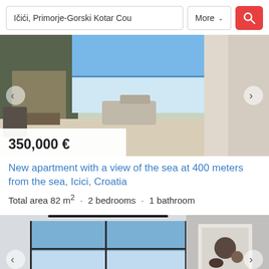[Figure (screenshot): Search bar with text 'Ičići, Primorje-Gorski Kotar Cou', a 'More' dropdown button, and a red search button with magnifier icon]
[Figure (photo): Interior photo of a modern apartment with sea view, showing living room with fireplace and ocean visible through large windows. Price tag shows 350,000 €]
New apartment with a view of the sea at 400 meters from the sea, Icici, Croatia
Total area 82 m² · 2 bedrooms · 1 bathroom
[Figure (photo): Interior photo of a modern apartment with floor-to-ceiling windows showing sea and blue sky, with minimalist decor and a framed artwork on the wall]